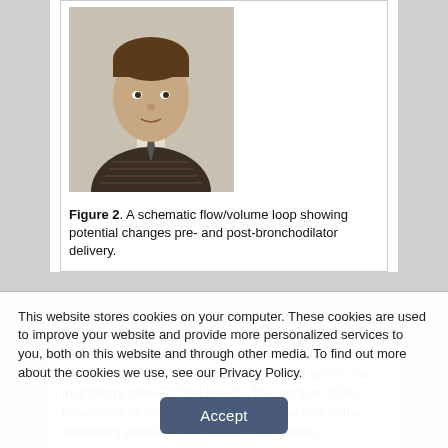[Figure (photo): Portrait photo of a man wearing a patterned dark sweater and tie]
Figure 2. A schematic flow/volume loop showing potential changes pre- and post-bronchodilator delivery.
plotted as a loop that rotates clockwise. The portion of the loop that is located below the volume axis is the inspiratory phase of the breath. The portion of the breath that is located above the volume axis is the expiratory phase of the breath. The arrows
This website stores cookies on your computer. These cookies are used to improve your website and provide more personalized services to you, both on this website and through other media. To find out more about the cookies we use, see our Privacy Policy.